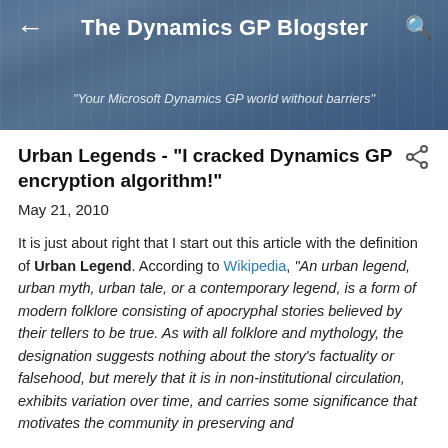The Dynamics GP Blogster
"Your Microsoft Dynamics GP world without barriers"
Urban Legends - "I cracked Dynamics GP encryption algorithm!"
May 21, 2010
It is just about right that I start out this article with the definition of Urban Legend. According to Wikipedia, "An urban legend, urban myth, urban tale, or a contemporary legend, is a form of modern folklore consisting of apocryphal stories believed by their tellers to be true. As with all folklore and mythology, the designation suggests nothing about the story's factuality or falsehood, but merely that it is in non-institutional circulation, exhibits variation over time, and carries some significance that motivates the community in preserving and